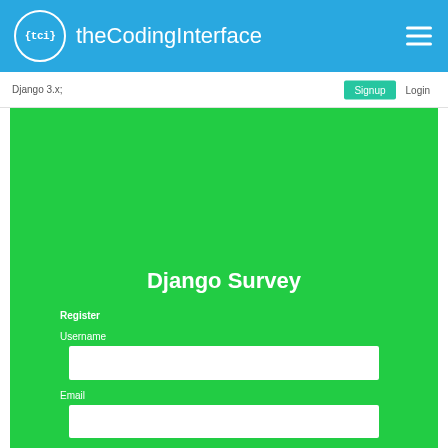{tci} theCodingInterface
Django 3.x;
Signup  Login
Django Survey
Register
Username
Email